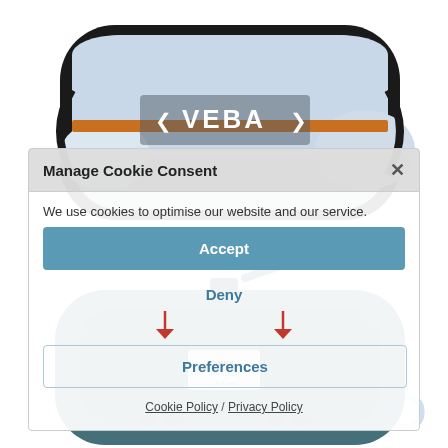[Figure (photo): Product photo of a VEBA car rearview mirror monitor, shown from front and back, with a cookie consent dialog overlay on a website]
Manage Cookie Consent
We use cookies to optimise our website and our service.
Accept
Deny
Preferences
Cookie Policy / Privacy Policy